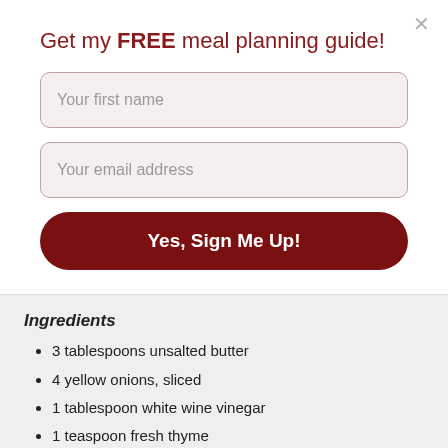Get my FREE meal planning guide!
Your first name
Your email address
Yes, Sign Me Up!
Ingredients
3 tablespoons unsalted butter
4 yellow onions, sliced
1 tablespoon white wine vinegar
1 teaspoon fresh thyme
3 lbs red potatoes, washed and cubed
1 tablespoon Maille Dijon Mustard with Horseradish